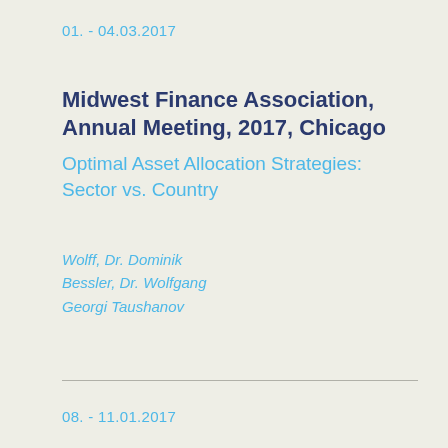01. - 04.03.2017
Midwest Finance Association, Annual Meeting, 2017, Chicago
Optimal Asset Allocation Strategies: Sector vs. Country
Wolff, Dr. Dominik
Bessler, Dr. Wolfgang
Georgi Taushanov
08. - 11.01.2017